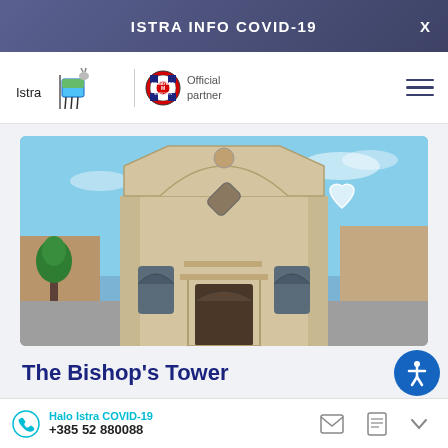ISTRA INFO COVID-19
[Figure (logo): Istra tourism logo with stylized goat and flag]
[Figure (logo): FC Bayern München official partner logo]
[Figure (photo): Photo of The Bishop's Tower church facade in Istria — a baroque-style stone church with blue sky background]
The Bishop's Tower
Halo Istra COVID-19 +385 52 880088